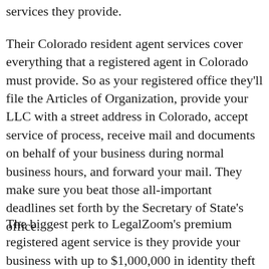services they provide.
Their Colorado resident agent services cover everything that a registered agent in Colorado must provide. So as your registered office they'll file the Articles of Organization, provide your LLC with a street address in Colorado, accept service of process, receive mail and documents on behalf of your business during normal business hours, and forward your mail. They make sure you beat those all-important deadlines set forth by the Secretary of State's office.
The biggest perk to LegalZoom's premium registered agent service is they provide your business with up to $1,000,000 in identity theft protection. This is very